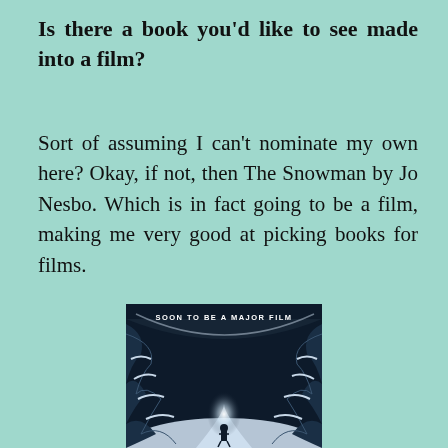Is there a book you'd like to see made into a film?
Sort of assuming I can't nominate my own here? Okay, if not, then The Snowman by Jo Nesbo. Which is in fact going to be a film, making me very good at picking books for films.
[Figure (photo): Book cover of The Snowman showing a dark winter scene with snow-covered trees forming an arch over a path, a silhouetted figure walking away, with text 'SOON TO BE A MAJOR FILM' at the top]